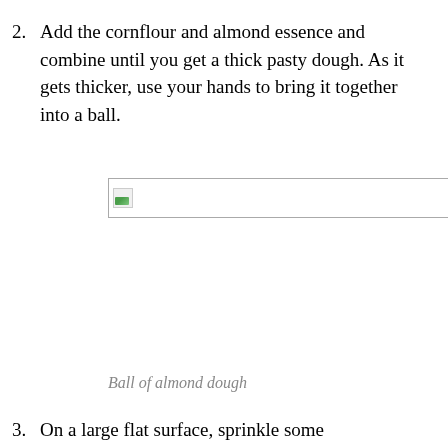2. Add the cornflour and almond essence and combine until you get a thick pasty dough. As it gets thicker, use your hands to bring it together into a ball.
[Figure (photo): Broken image placeholder showing a thin horizontal rectangle with a small image icon in the top-left corner, representing a photo of a ball of almond dough]
Ball of almond dough
3. On a large flat surface, sprinkle some